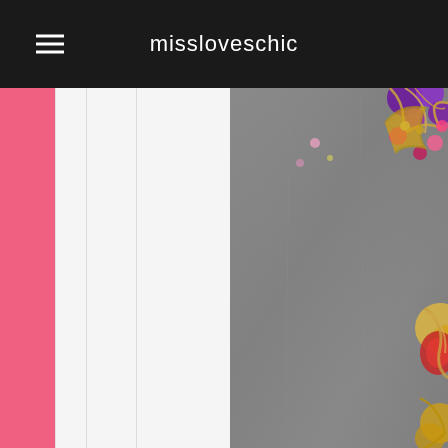missloveschic
[Figure (screenshot): Website screenshot showing the missloveschic blog header with a hamburger menu icon on the left and the site name centered on a black navigation bar. Below is a content area with a pink sidebar strip on the far left, a white/light grey panel in the middle-left, and a large photo on the right showing jewelry with purple and pink gemstones and gold filigree details on a grey fabric background.]